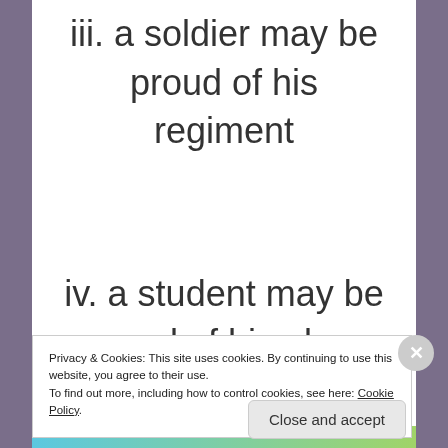iii. a soldier may be proud of his regiment
iv. a student may be proud of his alma mater
ii. what we really mean
Privacy & Cookies: This site uses cookies. By continuing to use this website, you agree to their use.
To find out more, including how to control cookies, see here: Cookie Policy
Close and accept